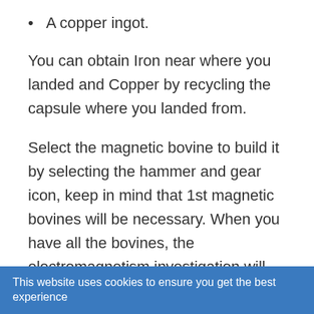A copper ingot.
You can obtain Iron near where you landed and Copper by recycling the capsule where you landed from.
Select the magnetic bovine to build it by selecting the hammer and gear icon, keep in mind that 1st magnetic bovines will be necessary. When you have all the bovines, the electromagnetism investigation will be completed, the same applies to all the investigations of the game.
This website uses cookies to ensure you get the best experience